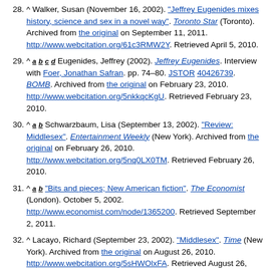28. ^ Walker, Susan (November 16, 2002). "Jeffrey Eugenides mixes history, science and sex in a novel way". Toronto Star (Toronto). Archived from the original on September 11, 2011. http://www.webcitation.org/61c3RMW2Y. Retrieved April 5, 2010.
29. ^ a b c d Eugenides, Jeffrey (2002). Jeffrey Eugenides. Interview with Foer, Jonathan Safran. pp. 74–80. JSTOR 40426739. BOMB. Archived from the original on February 23, 2010. http://www.webcitation.org/5nkkqcKgU. Retrieved February 23, 2010.
30. ^ a b Schwarzbaum, Lisa (September 13, 2002). "Review: Middlesex". Entertainment Weekly (New York). Archived from the original on February 26, 2010. http://www.webcitation.org/5nq0LX0TM. Retrieved February 26, 2010.
31. ^ a b "Bits and pieces; New American fiction". The Economist (London). October 5, 2002. http://www.economist.com/node/1365200. Retrieved September 2, 2011.
32. ^ Lacayo, Richard (September 23, 2002). "Middlesex". Time (New York). Archived from the original on August 26, 2010. http://www.webcitation.org/5sHWOlxFA. Retrieved August 26, 2010.